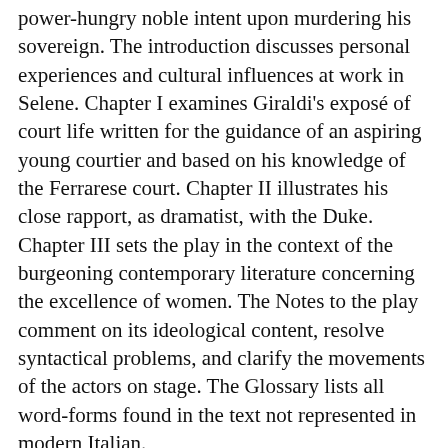power-hungry noble intent upon murdering his sovereign. The introduction discusses personal experiences and cultural influences at work in Selene. Chapter I examines Giraldi's exposé of court life written for the guidance of an aspiring young courtier and based on his knowledge of the Ferrarese court. Chapter II illustrates his close rapport, as dramatist, with the Duke. Chapter III sets the play in the context of the burgeoning contemporary literature concerning the excellence of women. The Notes to the play comment on its ideological content, resolve syntactical problems, and clarify the movements of the actors on stage. The Glossary lists all word-forms found in the text not represented in modern Italian.
Price: $179.95
Add to Cart